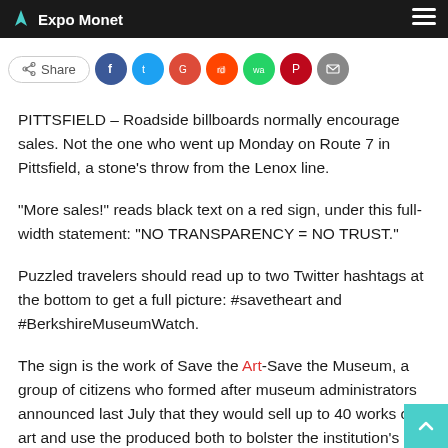Expo Monet
[Figure (other): Share bar with social media icon buttons: Share, Facebook, Twitter, Google, Reddit, WhatsApp, Pinterest, Email]
PITTSFIELD – Roadside billboards normally encourage sales. Not the one who went up Monday on Route 7 in Pittsfield, a stone's throw from the Lenox line.
“More sales!” reads black text on a red sign, under this full-width statement: “NO TRANSPARENCY = NO TRUST.”
Puzzled travelers should read up to two Twitter hashtags at the bottom to get a full picture: #savetheart and #BerkshireMuseumWatch.
The sign is the work of Save the Art-Save the Museum, a group of citizens who formed after museum administrators announced last July that they would sell up to 40 works of art and use the produced both to bolster the institution’s endowment and to